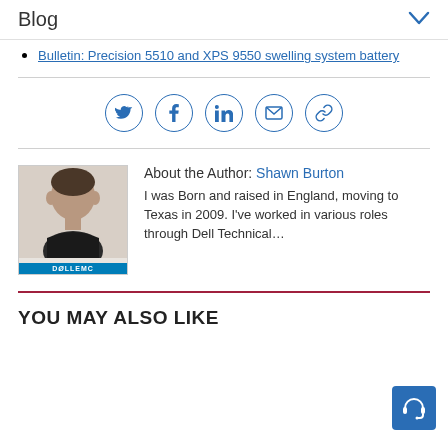Blog
Bulletin: Precision 5510 and XPS 9550 swelling system battery
[Figure (infographic): Social sharing icons: Twitter, Facebook, LinkedIn, Email, Link]
[Figure (photo): Author photo of Shawn Burton with Dell EMC logo bar at bottom]
About the Author: Shawn Burton
I was Born and raised in England, moving to Texas in 2009. I've worked in various roles through Dell Technical…
YOU MAY ALSO LIKE